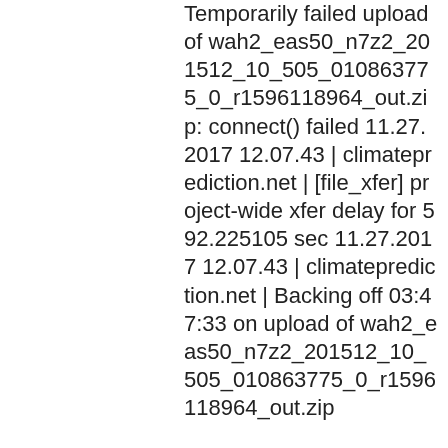Temporarily failed upload of wah2_eas50_n7z2_201512_10_505_010863775_0_r1596118964_out.zip: connect() failed 11.27.2017 12.07.43 | climateprediction.net | [file_xfer] project-wide xfer delay for 592.225105 sec 11.27.2017 12.07.43 | climateprediction.net | Backing off 03:47:33 on upload of wah2_eas50_n7z2_201512_10_505_010863775_0_r1596118964_out.zip